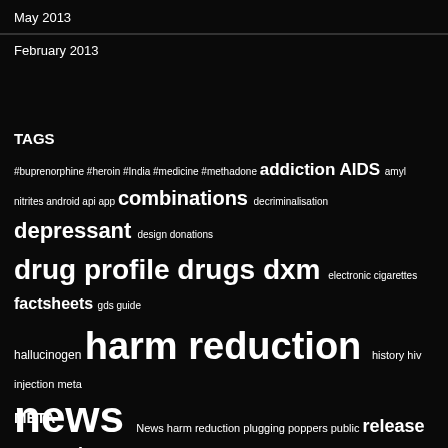May 2013
February 2013
TAGS
#buprenorphine #heroin #India #medicine #methadone addiction AIDS amyl nitrites android api app combinations decriminalisation depressant design donations drug profile drugs dxm electronic cigarettes factsheets gds guide hallucinogen harm reduction history hiv injection meta news News harm reduction plugging poppers public release research chemicals reset.me smoking survey tripsit update updates who wiki World AIDS Day
META